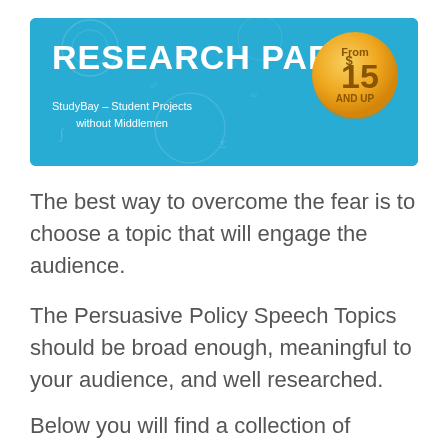[Figure (infographic): StudyBay advertisement banner with blue background showing 'RESEARCH PAPER' in large white bold text, subtitle 'StudyBay – Student Projects without Middlemen', and a gold coin graphic showing 'From $15 AND UP']
The best way to overcome the fear is to choose a topic that will engage the audience.
The Persuasive Policy Speech Topics should be broad enough, meaningful to your audience, and well researched.
Below you will find a collection of